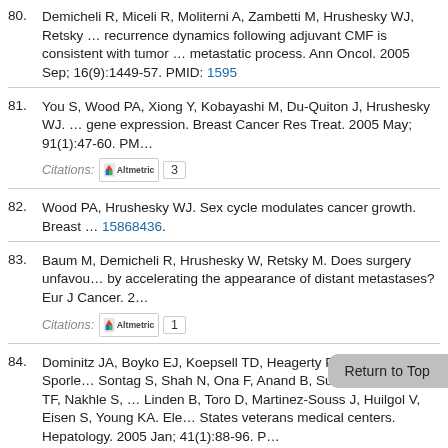80. Demicheli R, Miceli R, Moliterni A, Zambetti M, Hrushesky WJ, Retsky … recurrence dynamics following adjuvant CMF is consistent with tumor … metastatic process. Ann Oncol. 2005 Sep; 16(9):1449-57. PMID: 15956...
81. You S, Wood PA, Xiong Y, Kobayashi M, Du-Quiton J, Hrushesky WJ. … gene expression. Breast Cancer Res Treat. 2005 May; 91(1):47-60. PM…
Citations: [Altmetric] 3
82. Wood PA, Hrushesky WJ. Sex cycle modulates cancer growth. Breast … 15868436.
83. Baum M, Demicheli R, Hrushesky W, Retsky M. Does surgery unfavou… by accelerating the appearance of distant metastases? Eur J Cancer. 2…
Citations: [Altmetric] 1
84. Dominitz JA, Boyko EJ, Koepsell TD, Heagerty PJ, Maynard C, Sporle… Sontag S, Shah N, Ona F, Anand B, Subik M, Imperiale TF, Nakhle S, … Linden B, Toro D, Martinez-Souss J, Huilgol V, Eisen S, Young KA. Ele… States veterans medical centers. Hepatology. 2005 Jan; 41(1):88-96. P…
Citations: [Altmetric] 218
85. Retsky M, Demicheli R, Hrushesky W, Speer J, Swanzendrober D, Wa… studies of breast cancer. Breast Cancer Res. 2005; 7(1):37-40. PMID…